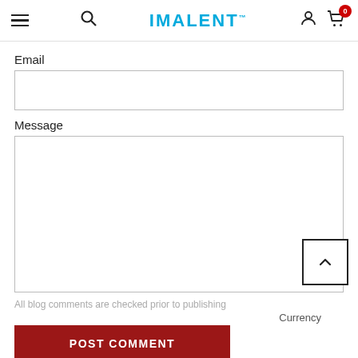IMALENT™
Email
Message
All blog comments are checked prior to publishing
Currency
POST COMMENT